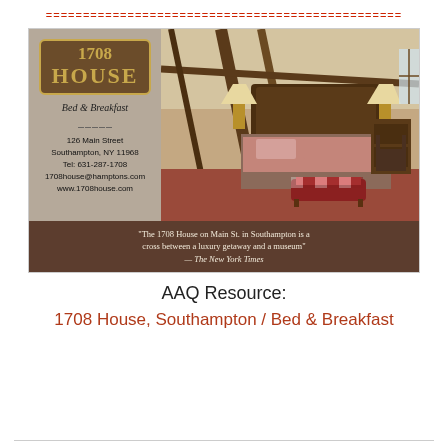========================================
[Figure (photo): Advertisement for 1708 House Bed & Breakfast in Southampton, NY. Left panel shows the logo (1708 HOUSE Bed & Breakfast) and contact info: 126 Main Street, Southampton, NY 11968, Tel: 631-287-1708, 1708house@hamptons.com, www.1708house.com. Right panel shows a photo of a luxury bedroom with rustic wood beams, a large bed with floral bedding, and a red plaid bench. Bottom brown banner reads: 'The 1708 House on Main St. in Southampton is a cross between a luxury getaway and a museum' — The New York Times]
AAQ Resource:
1708 House, Southampton / Bed & Breakfast